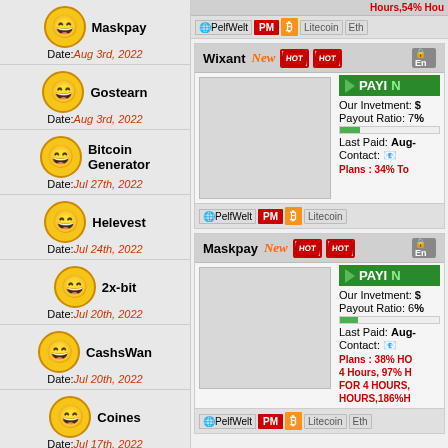Maskpay Date: Aug 3rd, 2022
Gostearn Date: Aug 3rd, 2022
Bitcoin Generator Date: Jul 27th, 2022
Helevest Date: Jul 24th, 2022
2x-bit Date: Jul 20th, 2022
CashsWan Date: Jul 20th, 2022
Coines Date: Jul 17th, 2022
Evospo
Wixant New HOT HOT
Our Invetment: $ Payout Ratio: 7% Last Paid: Aug- Contact: Plans: 34% To
Maskpay New HOT HOT
Our Invetment: $ Payout Ratio: 6% Last Paid: Aug- Contact: Plans: 38% HOURS, 4 Hours, 97% H FOR 4 HOURS, HOURS, 186%H